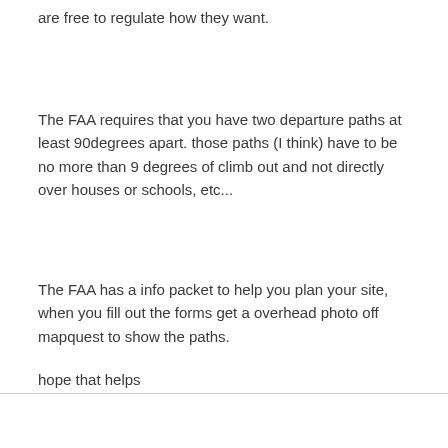are free to regulate how they want.
The FAA requires that you have two departure paths at least 90degrees apart. those paths (I think) have to be no more than 9 degrees of climb out and not directly over houses or schools, etc...
The FAA has a info packet to help you plan your site, when you fill out the forms get a overhead photo off mapquest to show the paths.
hope that helps
Quote
i4iq